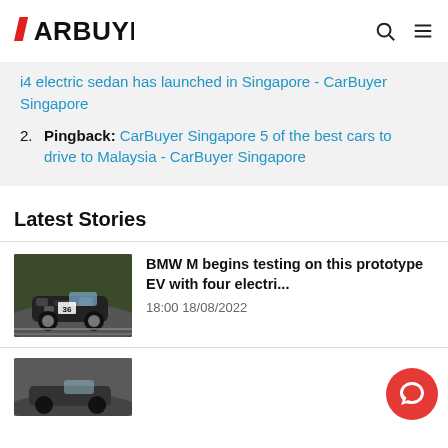CARBUYER
i4 electric sedan has launched in Singapore - CarBuyer Singapore
2. Pingback: CarBuyer Singapore 5 of the best cars to drive to Malaysia - CarBuyer Singapore
Latest Stories
[Figure (photo): A camouflaged BMW M prototype EV sports car on a race track]
BMW M begins testing on this prototype EV with four electri... 18:00 18/08/2022
[Figure (photo): Partial thumbnail of another car story at the bottom]